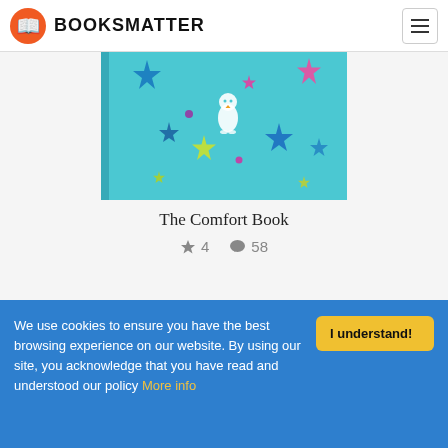BOOKSMATTER
[Figure (illustration): Book cover of 'The Comfort Book' with teal/cyan background, colorful sparkle stars, and a small white penguin logo in the center]
The Comfort Book
★ 4  💬 58
We use cookies to ensure you have the best browsing experience on our website. By using our site, you acknowledge that you have read and understood our policy More info